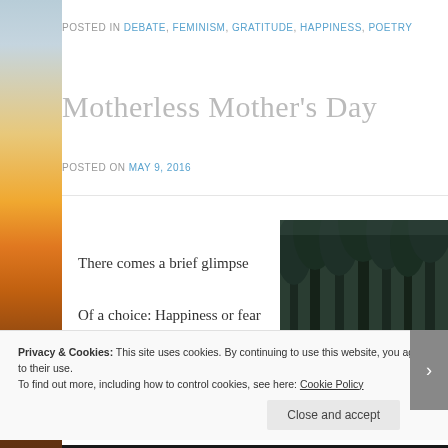POSTED IN DEBATE, FEMINISM, GRATITUDE, HAPPINESS, POETRY
Motherless Mother's Day
POSTED ON MAY 9, 2016
There comes a brief glimpse
Of a choice: Happiness or fear
[Figure (photo): Black and white or dark toned forest photo showing tall trees]
Privacy & Cookies: This site uses cookies. By continuing to use this website, you agree to their use.
To find out more, including how to control cookies, see here: Cookie Policy
Close and accept